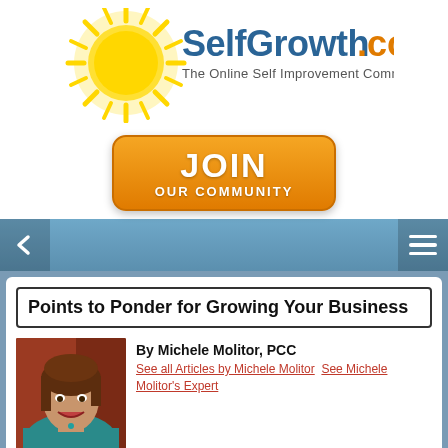[Figure (logo): SelfGrowth.com logo with sun graphic and tagline 'The Online Self Improvement Community']
[Figure (infographic): Orange JOIN OUR COMMUNITY button]
[Figure (other): Navigation bar with back arrow and hamburger menu]
Points to Ponder for Growing Your Business
[Figure (photo): Photo of Michele Molitor, PCC - woman with brown hair smiling]
By Michele Molitor, PCC
See all Articles by Michele Molitor   See Michele Molitor's Expert